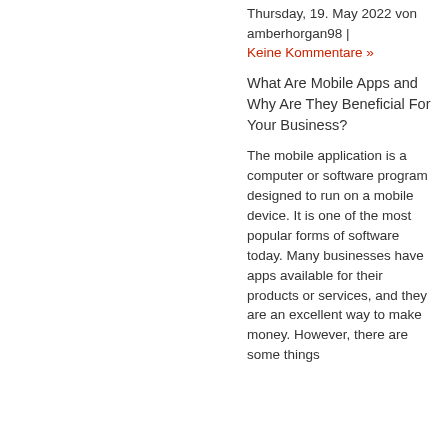Thursday, 19. May 2022 von amberhorgan98 | Keine Kommentare »
What Are Mobile Apps and Why Are They Beneficial For Your Business?
The mobile application is a computer or software program designed to run on a mobile device. It is one of the most popular forms of software today. Many businesses have apps available for their products or services, and they are an excellent way to make money. However, there are some things